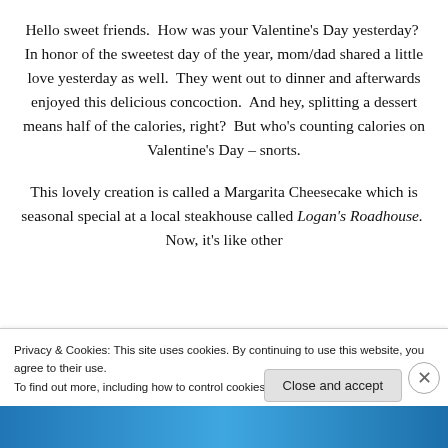Hello sweet friends.  How was your Valentine's Day yesterday?  In honor of the sweetest day of the year, mom/dad shared a little love yesterday as well.  They went out to dinner and afterwards enjoyed this delicious concoction.  And hey, splitting a dessert means half of the calories, right?  But who's counting calories on Valentine's Day – snorts.
This lovely creation is called a Margarita Cheesecake which is seasonal special at a local steakhouse called Logan's Roadhouse.  Now, it's like other
Privacy & Cookies: This site uses cookies. By continuing to use this website, you agree to their use.
To find out more, including how to control cookies, see here: Cookie Policy
Close and accept